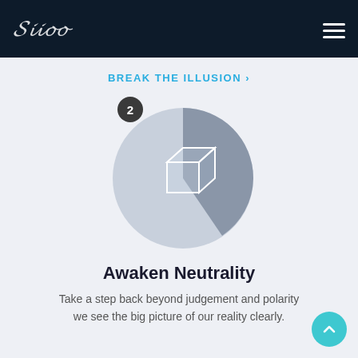Grimo (logo)
BREAK THE ILLUSION ›
[Figure (illustration): A circular two-tone icon (light gray and dark gray) with a 3D wireframe cube in the center and a number 2 badge in the upper-left]
Awaken Neutrality
Take a step back beyond judgement and polarity here we see the big picture of our reality clearly.